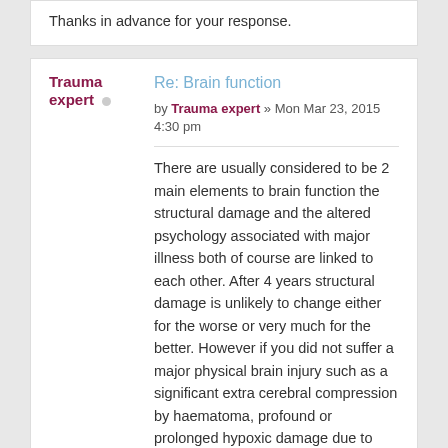Thanks in advance for your response.
Re: Brain function
by Trauma expert » Mon Mar 23, 2015 4:30 pm
There are usually considered to be 2 main elements to brain function the structural damage and the altered psychology associated with major illness both of course are linked to each other. After 4 years structural damage is unlikely to change either for the worse or very much for the better. However if you did not suffer a major physical brain injury such as a significant extra cerebral compression by haematoma, profound or prolonged hypoxic damage due to asphyxia or prolonged hypotension or indeed direct brain injury with oedema and or intracerebral haemorrhage or infarction it is possible that with help you can learn new behaviours that will